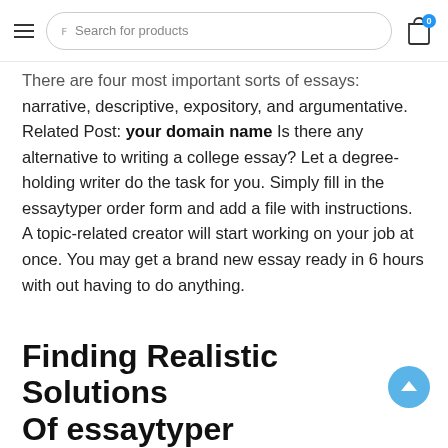Search for products
There are four most important sorts of essays: narrative, descriptive, expository, and argumentative. Related Post: your domain name Is there any alternative to writing a college essay? Let a degree-holding writer do the task for you. Simply fill in the essaytyper order form and add a file with instructions. A topic-related creator will start working on your job at once. You may get a brand new essay ready in 6 hours with out having to do anything.
Finding Realistic Solutions Of essaytyper